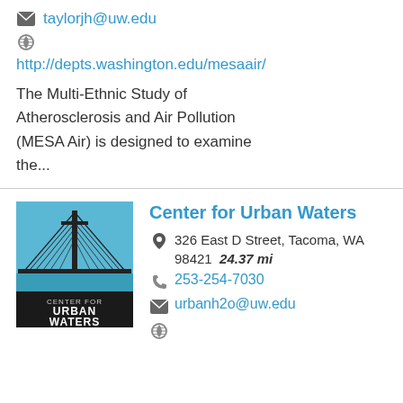taylorjh@uw.edu
http://depts.washington.edu/mesaair/
The Multi-Ethnic Study of Atherosclerosis and Air Pollution (MESA Air) is designed to examine the...
[Figure (logo): Center for Urban Waters logo: blue square with bridge/cable lines illustration, black bar at bottom with white text CENTER FOR URBAN WATERS]
Center for Urban Waters
326 East D Street, Tacoma, WA 98421  24.37 mi
253-254-7030
urbanh2o@uw.edu